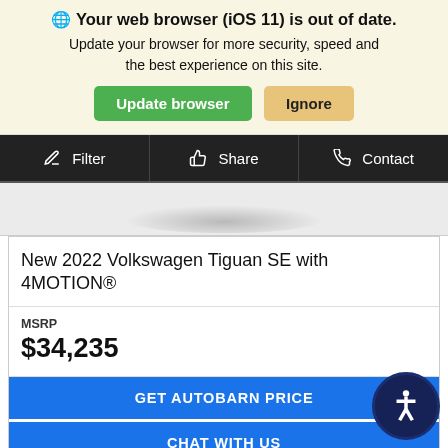🌐 Your web browser (iOS 11) is out of date. Update your browser for more security, speed and the best experience on this site.
Update browser | Ignore
[Figure (screenshot): Navigation bar with Filter, Share, and Contact options on dark background]
New 2022 Volkswagen Tiguan SE with 4MOTION®
MSRP $34,235
GET AUTOBARN PRICE
CHAT WITH US
Get Pre-Approved